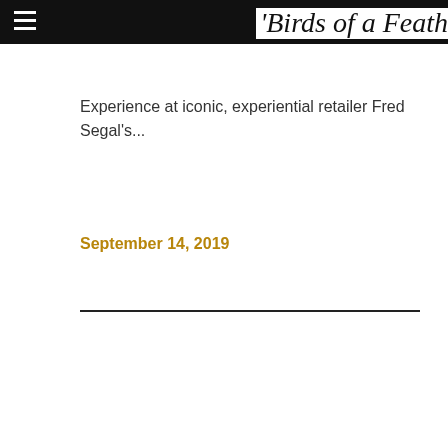'Birds of a Feath
Experience at iconic, experiential retailer Fred Segal's...
September 14, 2019